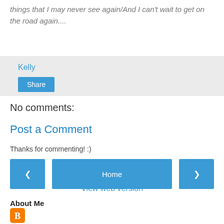things that I may never see again/And I can't wait to get on the road again....
Kelly
Share
No comments:
Post a Comment
Thanks for commenting! :)
< Home >
View web version
About Me
[Figure (logo): Blogger orange square icon]